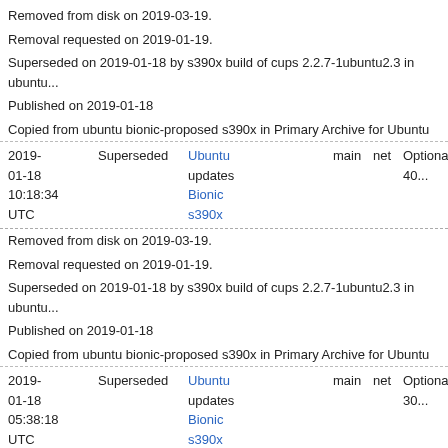Removed from disk on 2019-03-19.
Removal requested on 2019-01-19.
Superseded on 2019-01-18 by s390x build of cups 2.2.7-1ubuntu2.3 in ubuntu...
Published on 2019-01-18
Copied from ubuntu bionic-proposed s390x in Primary Archive for Ubuntu
| Date | Status | Links | Pocket | Component | Section | Priority |
| --- | --- | --- | --- | --- | --- | --- |
| 2019-01-18 10:18:34 UTC | Superseded | Ubuntu Bionic s390x | updates | main | net | Optional 40... |
Removed from disk on 2019-03-19.
Removal requested on 2019-01-19.
Superseded on 2019-01-18 by s390x build of cups 2.2.7-1ubuntu2.3 in ubuntu...
Published on 2019-01-18
Copied from ubuntu bionic-proposed s390x in Primary Archive for Ubuntu
| Date | Status | Links | Pocket | Component | Section | Priority |
| --- | --- | --- | --- | --- | --- | --- |
| 2019-01-18 05:38:18 UTC | Superseded | Ubuntu Bionic s390x | updates | main | net | Optional 30... |
Removed from disk on 2019-03-19.
Removal requested on 2019-01-19.
Superseded on 2019-01-18 by s390x build of cups 2.2.7-1ubuntu2.3 in ubuntu...